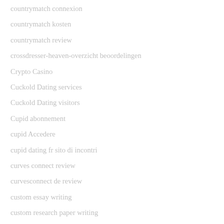countrymatch connexion
countrymatch kosten
countrymatch review
crossdresser-heaven-overzicht beoordelingen
Crypto Casino
Cuckold Dating services
Cuckold Dating visitors
Cupid abonnement
cupid Accedere
cupid dating fr sito di incontri
curves connect review
curvesconnect de review
custom essay writing
custom research paper writing
cybermen pl review